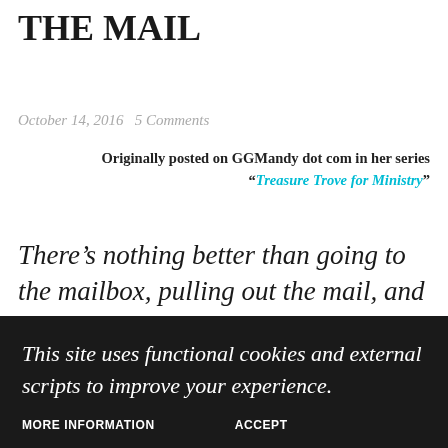THE MAIL
October 14, 2016   5 Comments
Originally posted on GGMandy dot com in her series “Treasure Trove for Ministry”
There’s nothing better than going to the mailbox, pulling out the mail, and finding an honest to goodness note from someone
This site uses functional cookies and external scripts to improve your experience.
MORE INFORMATION   ACCEPT